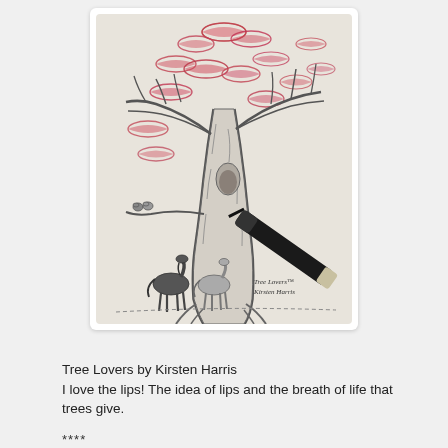[Figure (illustration): A pencil-and-ink drawing of a large tree with lipstick kiss prints forming the foliage/leaves in pink/red, two horses standing at the base of the tree, birds on a branch, and a black marker pen resting against the drawing. Signed 'Tree Lovers Kirsten Harris' in the bottom right of the artwork.]
Tree Lovers by Kirsten Harris
I love the lips! The idea of lips and the breath of life that trees give.
****